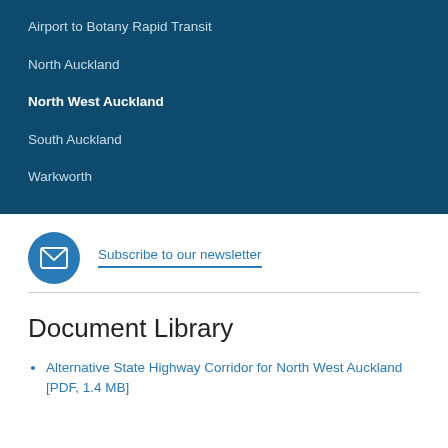Airport to Botany Rapid Transit
North Auckland
North West Auckland
South Auckland
Warkworth
Subscribe to our newsletter
Document Library
Alternative State Highway Corridor for North West Auckland [PDF, 1.4 MB]